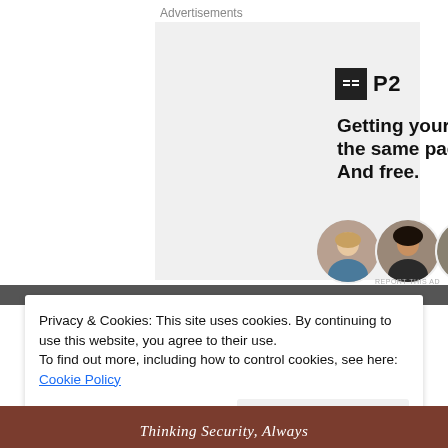Advertisements
[Figure (other): P2 advertisement: logo with black square icon and 'P2' text, headline 'Getting your team on the same page is easy. And free.', three circular avatar photos and a blue circle with plus sign]
REPORT THIS AD
Privacy & Cookies: This site uses cookies. By continuing to use this website, you agree to their use.
To find out more, including how to control cookies, see here: Cookie Policy
Close and accept
Thinking Security, Always